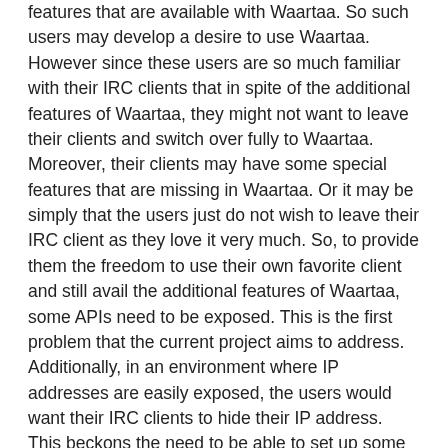features that are available with Waartaa. So such users may develop a desire to use Waartaa. However since these users are so much familiar with their IRC clients that in spite of the additional features of Waartaa, they might not want to leave their clients and switch over fully to Waartaa. Moreover, their clients may have some special features that are missing in Waartaa. Or it may be simply that the users just do not wish to leave their IRC client as they love it very much. So, to provide them the freedom to use their own favorite client and still avail the additional features of Waartaa, some APIs need to be exposed. This is the first problem that the current project aims to address.
Additionally, in an environment where IP addresses are easily exposed, the users would want their IRC clients to hide their IP address. This beckons the need to be able to set up some sort of concealment, or setting up of some kind of "virtual hosts". We also have a situation for IRC clients in which, when they get disconnected from the IRC server they are in no position to know what state changes take place. It could be nice if Waartaa could remain linked to the IRC server and relay the state changes to the client when it is connected again. Similar is the situation with FTP. Users would like to have the host and